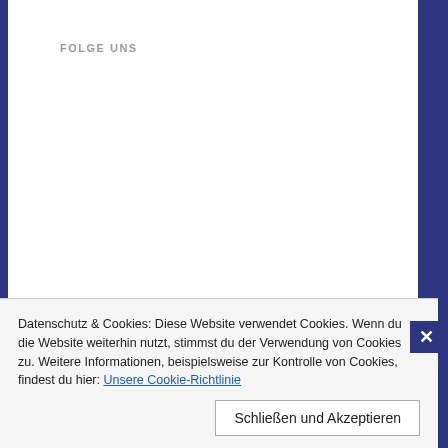FOLGE UNS
TOP BEITRÄGE & SEITEN
[Figure (photo): A person walking on a long straight road through a desert landscape with mountains in the background and a blue sky with clouds.]
Datenschutz & Cookies: Diese Website verwendet Cookies. Wenn du die Website weiterhin nutzt, stimmst du der Verwendung von Cookies zu. Weitere Informationen, beispielsweise zur Kontrolle von Cookies, findest du hier: Unsere Cookie-Richtlinie
Schließen und Akzeptieren